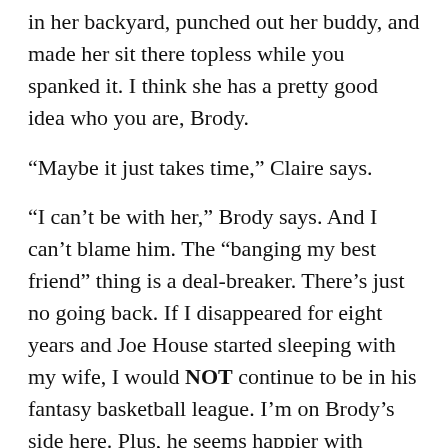in her backyard, punched out her buddy, and made her sit there topless while you spanked it. I think she has a pretty good idea who you are, Brody.
“Maybe it just takes time,” Claire says.
“I can’t be with her,” Brody says. And I can’t blame him. The “banging my best friend” thing is a deal-breaker. There’s just no going back. If I disappeared for eight years and Joe House started sleeping with my wife, I would NOT continue to be in his fantasy basketball league. I’m on Brody’s side here. Plus, he seems happier with Claire — she’s crazy and so is he. They’re perfect.
“This is the first time since I’ve been back that I’ve found some fucking peace,” Brody says.
“Yeah,” Claire agrees. “Me, too, actually. That’s pretty rare